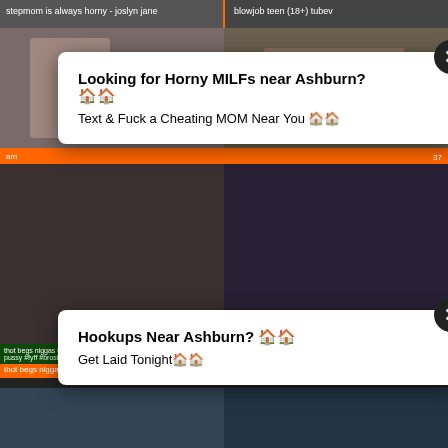stepmom is always horny - joslyn jane
blowjob teen (18+) tubev
[Figure (screenshot): Ad popup: Looking for Horny MILFs near Ashburn? Text & Fuck a Cheating MOM Near You]
[Figure (screenshot): Ad popup: Hookups Near Ashburn? Get Laid Tonight]
thot begs niggas to double creampie 10:07 pussy #fyff #broshit #nohomo
thot begs niggas to double creampie her
amateur anal tubev
amateur 13:35